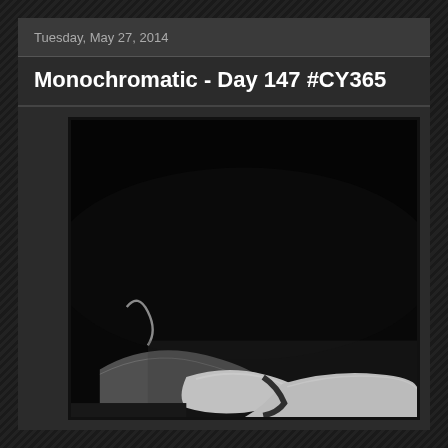Tuesday, May 27, 2014
Monochromatic - Day 147 #CY365
[Figure (photo): Monochromatic black and white close-up photograph, mostly dark/black with high-contrast white and grey abstract forms in the lower portion, possibly a flower or organic subject with soft curved shapes.]